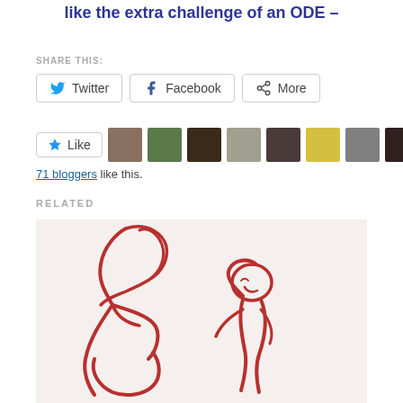like the extra challenge of an ODE –
SHARE THIS:
Twitter  Facebook  More
Like  71 bloggers like this.
RELATED
[Figure (illustration): Red crayon or marker drawing on white paper showing two figures embracing, drawn in a childlike or expressive style with loose red outlines forming human silhouettes.]